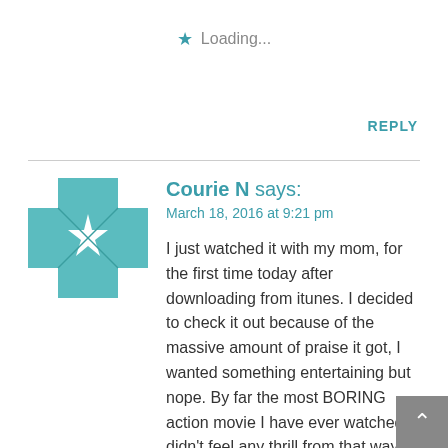Loading...
REPLY
[Figure (logo): Teal decorative cross/quilt pattern avatar icon]
Courie N says:
March 18, 2016 at 9:21 pm
I just watched it with my mom, for the first time today after downloading from itunes. I decided to check it out because of the massive amount of praise it got, I wanted something entertaining but nope. By far the most BORING action movie I have ever watched. I didn't feel any thrill from that way too long car chase, couldn't car less about even a single